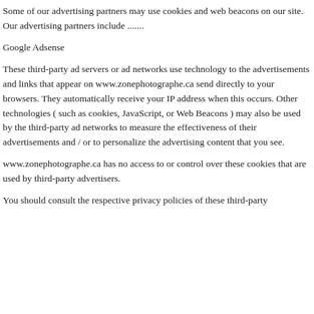Some of our advertising partners may use cookies and web beacons on our site. Our advertising partners include .......
Google Adsense
These third-party ad servers or ad networks use technology to the advertisements and links that appear on www.zonephotographe.ca send directly to your browsers. They automatically receive your IP address when this occurs. Other technologies ( such as cookies, JavaScript, or Web Beacons ) may also be used by the third-party ad networks to measure the effectiveness of their advertisements and / or to personalize the advertising content that you see.
www.zonephotographe.ca has no access to or control over these cookies that are used by third-party advertisers.
You should consult the respective privacy policies of these third-party